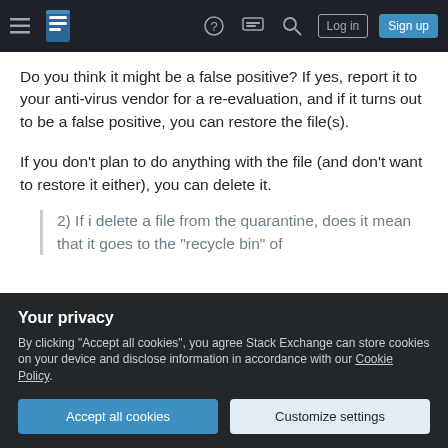Stack Exchange navigation bar with hamburger menu, logo, help, chat, search icons, Log in and Sign up buttons
Do you think it might be a false positive? If yes, report it to your anti-virus vendor for a re-evaluation, and if it turns out to be a false positive, you can restore the file(s).
If you don't plan to do anything with the file (and don't want to restore it either), you can delete it.
2) If i delete a file from the quarantine, does it mean that it goes to the "recycle bin" of
Your privacy
By clicking "Accept all cookies", you agree Stack Exchange can store cookies on your device and disclose information in accordance with our Cookie Policy.
Accept all cookies
Customize settings
anti-virus. No reputable vendor would send the file